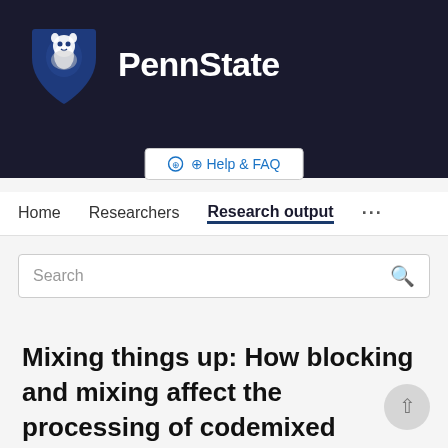[Figure (logo): Penn State University logo: blue lion shield with white lion head, next to bold white 'PennState' text on dark background]
Help & FAQ
Home   Researchers   Research output   ...
Search
Mixing things up: How blocking and mixing affect the processing of codemixed sentences